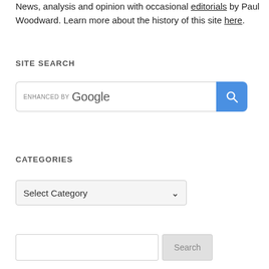News, analysis and opinion with occasional editorials by Paul Woodward. Learn more about the history of this site here.
SITE SEARCH
[Figure (screenshot): Google enhanced search bar with blue search button containing a magnifying glass icon]
CATEGORIES
[Figure (screenshot): Select Category dropdown widget]
[Figure (screenshot): Search text input with Search button]